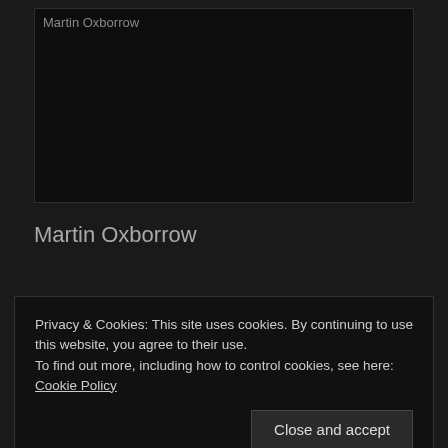[Figure (photo): Dark image placeholder with alt text 'Martin Oxborrow']
Martin Oxborrow
Privacy & Cookies: This site uses cookies. By continuing to use this website, you agree to their use.
To find out more, including how to control cookies, see here: Cookie Policy
Close and accept